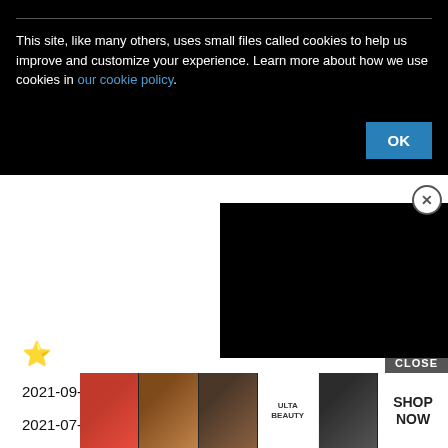This site, like many others, uses small files called cookies to help us improve and customize your experience. Learn more about how we use cookies in our cookie policy.
[Figure (screenshot): OK button on cookie banner]
[Figure (screenshot): Close (X) circle button overlay for video panel]
[Figure (screenshot): Black video overlay panel on right side]
[Figure (screenshot): Yellow star icon]
2021-09-20 – Alexandru Lungu
2021-07-24 – Higashimoto Hisaki vs Hiroki
2021-05-31 – Alexandru Lungu vs Franco De Martiis
[Figure (screenshot): CLOSE label above advertisement banner]
[Figure (advertisement): ULTA beauty advertisement banner with makeup images and SHOP NOW text]